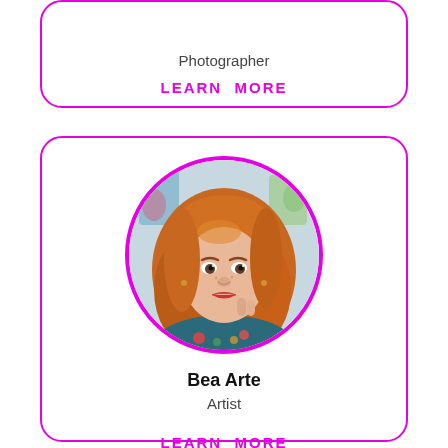Photographer
LEARN MORE
[Figure (photo): Circular portrait photo of a woman with long red/orange wavy hair, wearing a floral top, posing with hand near chin, surrounded by a magenta circle border]
Bea Arte
Artist
LEARN MORE